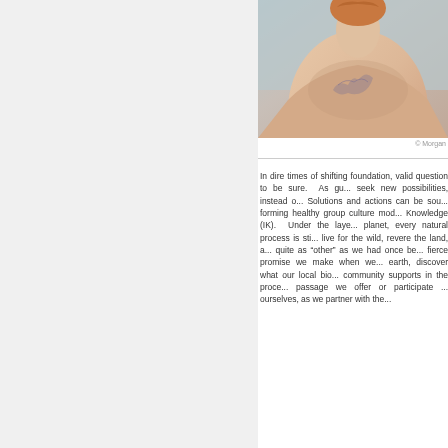[Figure (photo): A person showing their back with tattoos, photographed from behind against a light blue-grey background. The person has reddish/blonde hair.]
© Morgan
In dire times of shifting foundation, valid question to be sure.  As gu... seek new possibilities, instead o... Solutions and actions can be sou... forming healthy group culture mod... Knowledge (IK).  Under the laye... planet, every natural process is sti... live for the wild, revere the land, a... quite as "other" as we had once be... fierce promise we make when we... earth, discover what our local bio... community supports in the proce... passage we offer or participate ... ourselves, as we partner with the...